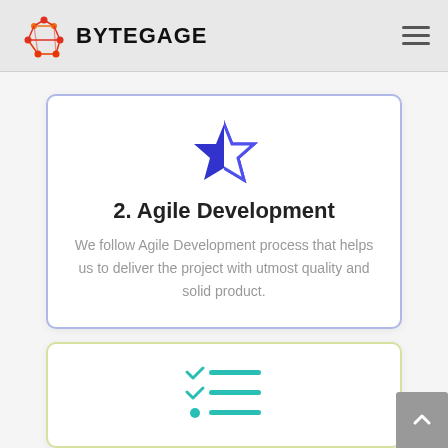BYTEGAGE
[Figure (logo): Bytegage logo with geometric network icon in red and orange]
[Figure (illustration): Blue half-filled star icon]
2. Agile Development
We follow Agile Development process that helps us to deliver the project with utmost quality and solid product.
[Figure (illustration): Green/teal checklist icon with three items, partially visible card]